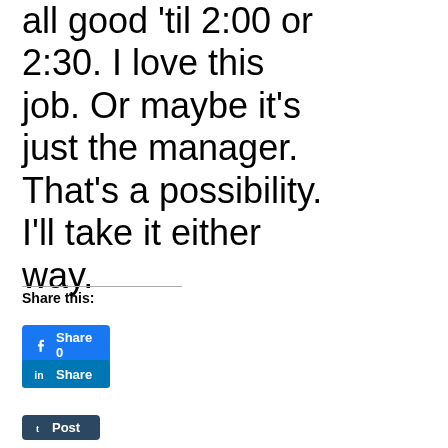few hours, we're all good 'til 2:00 or 2:30. I love this job. Or maybe it's just the manager. That's a possibility. I'll take it either way.
Share this:
[Figure (screenshot): Facebook Share button with count 0]
[Figure (screenshot): LinkedIn Share button]
[Figure (screenshot): Tumblr Post button]